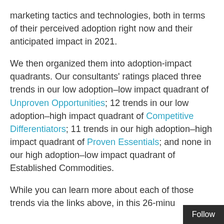marketing tactics and technologies, both in terms of their perceived adoption right now and their anticipated impact in 2021.
We then organized them into adoption-impact quadrants. Our consultants' ratings placed three trends in our low adoption–low impact quadrant of Unproven Opportunities; 12 trends in our low adoption–high impact quadrant of Competitive Differentiators; 11 trends in our high adoption–high impact quadrant of Proven Essentials; and none in our high adoption–low impact quadrant of Established Commodities.
While you can learn more about each of those trends via the links above, in this 26-minu…